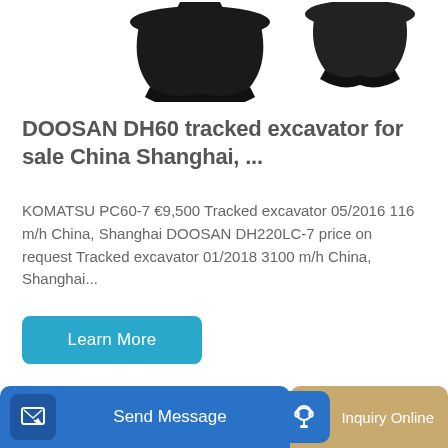[Figure (photo): Partial view of dark/black excavator bucket attachments on white background, cropped at top]
DOOSAN DH60 tracked excavator for sale China Shanghai, ...
KOMATSU PC60-7 €9,500 Tracked excavator 05/2016 116 m/h China, Shanghai DOOSAN DH220LC-7 price on request Tracked excavator 01/2018 3100 m/h China, Shanghai...
[Figure (other): Blue rounded rectangle button labeled 'Learn More']
[Figure (photo): Yellow Lonking excavator arm and body, partially visible, on white background]
[Figure (other): Bottom navigation bar with 'Send Message' blue button with edit icon on left and 'Inquiry Online' tan/gold button with headset icon on right]